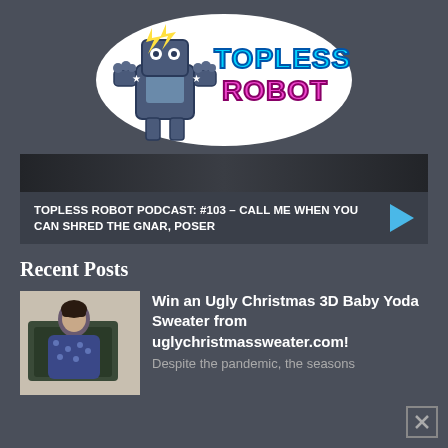[Figure (logo): Topless Robot logo with robot mascot and stylized neon text]
[Figure (screenshot): Podcast thumbnail dark banner]
TOPLESS ROBOT PODCAST: #103 – CALL ME WHEN YOU CAN SHRED THE GNAR, POSER
Recent Posts
[Figure (photo): Thumbnail image of a person in a blue outfit sitting in front of a green object]
Win an Ugly Christmas 3D Baby Yoda Sweater from uglychristmassweater.com!
Despite the pandemic, the seasons